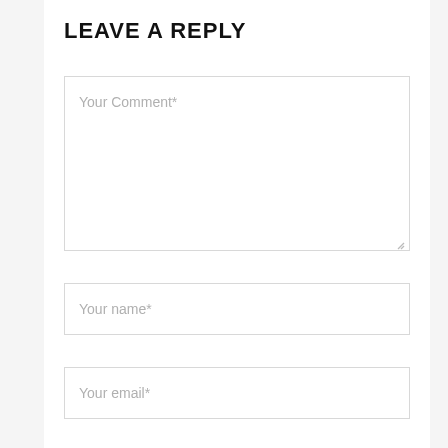LEAVE A REPLY
Your Comment*
Your name*
Your email*